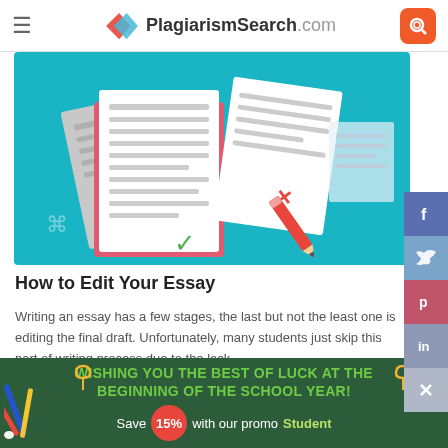PlagiarismSearch.com
[Figure (illustration): Illustration of documents with checkmarks and a pencil on a teal/turquoise background, representing essay editing]
How to Edit Your Essay
Writing an essay has a few stages, the last but not the least one is editing the final draft. Unfortunately, many students just skip this part of writing process due to the lack ...
[Figure (screenshot): Search input box with orange search button]
WISHING YOU THE BEST OF LUCK AT THE BEGINNING OF THE SCHOOL YEAR! Save 15% with our promo Student